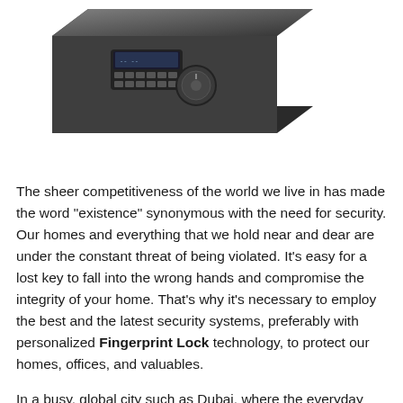[Figure (photo): A dark grey electronic safe with a digital keypad and dial handle, shown at an angle from above-left.]
The sheer competitiveness of the world we live in has made the word "existence" synonymous with the need for security. Our homes and everything that we hold near and dear are under the constant threat of being violated. It's easy for a lost key to fall into the wrong hands and compromise the integrity of your home. That's why it's necessary to employ the best and the latest security systems, preferably with personalized Fingerprint Lock technology, to protect our homes, offices, and valuables.
In a busy, global city such as Dubai, where the everyday footfall touches sky-high numbers, it is all the more